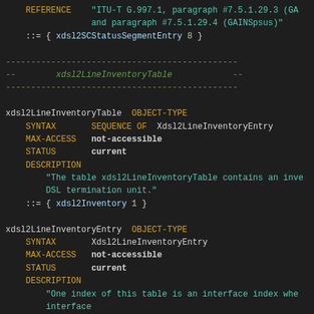REFERENCE "ITU-T G.997.1, paragraph #7.5.1.29.3 (GA and paragraph #7.5.1.29.4 (GAINSpsus)" ::= { xdsl2SCStatusSegmentEntry 8 }
-- xdsl2LineInventoryTable --
xdsl2LineInventoryTable OBJECT-TYPE SYNTAX SEQUENCE OF Xdsl2LineInventoryEntry MAX-ACCESS not-accessible STATUS current DESCRIPTION "The table xdsl2LineInventoryTable contains an inve DSL termination unit." ::= { xdsl2Inventory 1 }
xdsl2LineInventoryEntry OBJECT-TYPE SYNTAX Xdsl2LineInventoryEntry MAX-ACCESS not-accessible STATUS current DESCRIPTION "One index of this table is an interface index whe interface has an ifType of vdsl2(251). A second index of t termination unit." INDEX { ifIndex, xdsl2LInvUnit } ::= { xdsl2LineInventoryTable 1 }